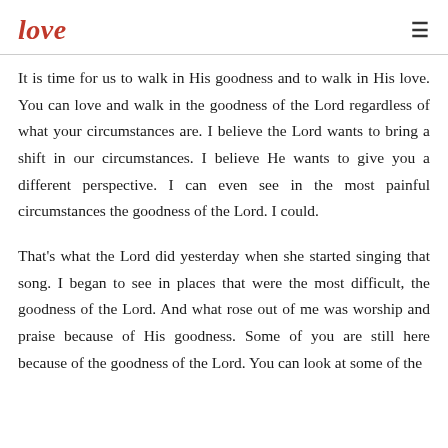love
It is time for us to walk in His goodness and to walk in His love. You can love and walk in the goodness of the Lord regardless of what your circumstances are. I believe the Lord wants to bring a shift in our circumstances. I believe He wants to give you a different perspective. I can even see in the most painful circumstances the goodness of the Lord. I could.
That's what the Lord did yesterday when she started singing that song. I began to see in places that were the most difficult, the goodness of the Lord. And what rose out of me was worship and praise because of His goodness. Some of you are still here because of the goodness of the Lord. You can look at some of the